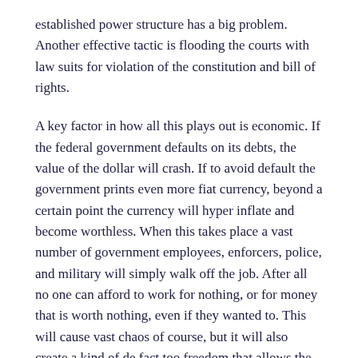established power structure has a big problem. Another effective tactic is flooding the courts with law suits for violation of the constitution and bill of rights.
A key factor in how all this plays out is economic. If the federal government defaults on its debts, the value of the dollar will crash. If to avoid default the government prints even more fiat currency, beyond a certain point the currency will hyper inflate and become worthless. When this takes place a vast number of government employees, enforcers, police, and military will simply walk off the job. After all no one can afford to work for nothing, or for money that is worth nothing, even if they wanted to. This will cause vast chaos of course, but it will also create a kind of de fact too freedom that allows the opportunity for a grass roots restructuring of society to take hold.